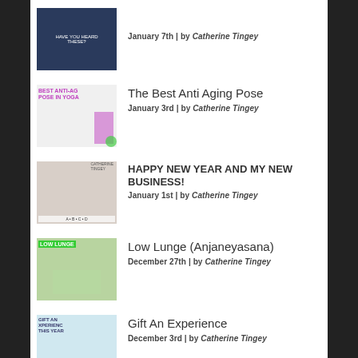January 7th | by Catherine Tingey
The Best Anti Aging Pose
January 3rd | by Catherine Tingey
HAPPY NEW YEAR AND MY NEW BUSINESS!
January 1st | by Catherine Tingey
Low Lunge (Anjaneyasana)
December 27th | by Catherine Tingey
Gift An Experience
December 3rd | by Catherine Tingey
Yoga For Families
November 15th | by Catherine Tingey